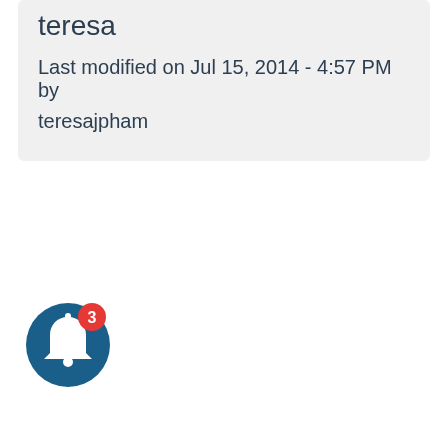teresa
Last modified on Jul 15, 2014 - 4:57 PM by
teresajpham
[Figure (illustration): A circular dark blue notification bell icon with a red badge showing the number 3]